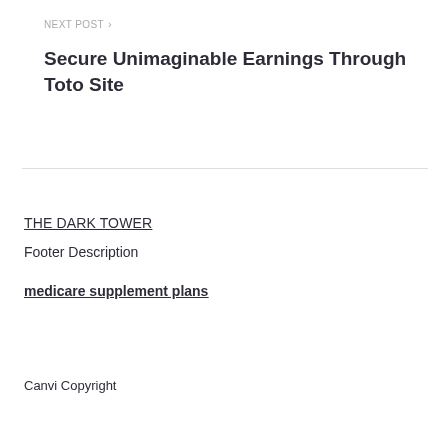NEXT POST >
Secure Unimaginable Earnings Through Toto Site
THE DARK TOWER
Footer Description
medicare supplement plans
Canvi Copyright